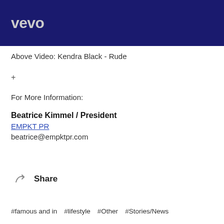[Figure (screenshot): Vevo video thumbnail showing dark blue/purple background with 'vevo' logo text in grey at top left]
Above Video: Kendra Black - Rude
+
For More Information:
Beatrice Kimmel / President
EMPKT PR
beatrice@empktpr.com
Share
#famous and in   #lifestyle   #Other   #Stories/News